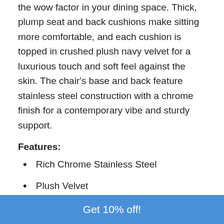the wow factor in your dining space. Thick, plump seat and back cushions make sitting more comfortable, and each cushion is topped in crushed plush navy velvet for a luxurious touch and soft feel against the skin. The chair's base and back feature stainless steel construction with a chrome finish for a contemporary vibe and sturdy support.
Features:
Rich Chrome Stainless Steel
Plush Velvet
Intricate Design on Back
Get 10% off!